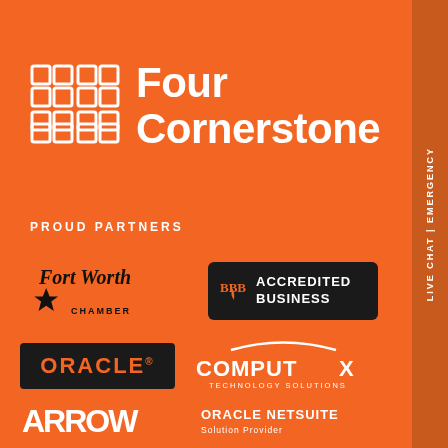[Figure (logo): Four Cornerstone logo with grid icon and bold white text on orange background]
PROUD PARTNERS
[Figure (logo): Fort Worth Chamber logo]
[Figure (logo): BBB Accredited Business logo on black background]
[Figure (logo): Oracle logo on black background in orange text]
[Figure (logo): Computex Technology Solutions logo]
[Figure (logo): Arrow logo in white stylized text]
[Figure (logo): Oracle NetSuite Solution Provider logo]
LIVE CHAT | EMERGENCY